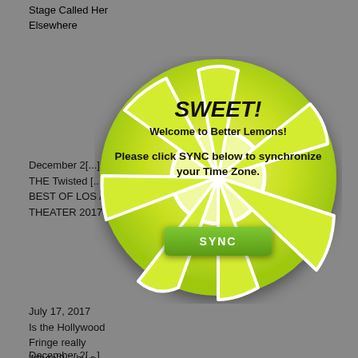Stage Called Her
Elsewhere
December 2[...]
THE Twisted [...]...
BEST OF LOS A[...]...
THEATER 2017[...]
[Figure (infographic): A lemon slice popup dialog overlay on a gray background. The lemon is bright yellow-green with white segment lines. It contains text: SWEET! Welcome to Better Lemons! Please click SYNC below to synchronize your Time Zone. And a green SYNC button.]
July 17, 2017
Is the Hollywood
Fringe really
'fringe'?... by a...